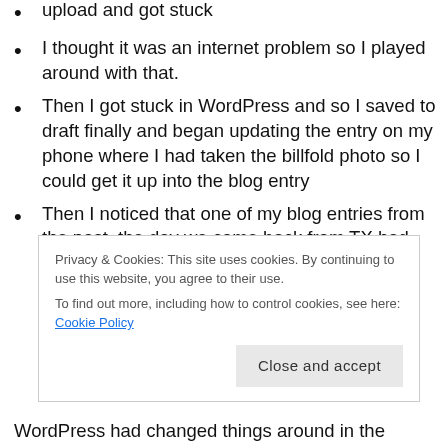upload and got stuck
I thought it was an internet problem so I played around with that.
Then I got stuck in WordPress and so I saved to draft finally and began updating the entry on my phone where I had taken the billfold photo so I could get it up into the blog entry
Then I noticed that one of my blog entries from the past, the day we came back from TX had been moved to draft. What? So I published it. But instead of putting it in the
Privacy & Cookies: This site uses cookies. By continuing to use this website, you agree to their use. To find out more, including how to control cookies, see here: Cookie Policy
WordPress had changed things around in the